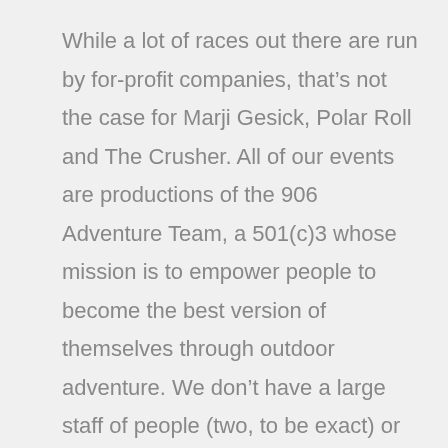While a lot of races out there are run by for-profit companies, that’s not the case for Marji Gesick, Polar Roll and The Crusher. All of our events are productions of the 906 Adventure Team, a 501(c)3 whose mission is to empower people to become the best version of themselves through outdoor adventure. We don’t have a large staff of people (two, to be exact) or significant overhead, and that enables us to donate a significant portion of race revenues in two ways:

Since 2015, we’ve given back more than $141,000 to the trail-builders of RAMBA, NTN, Sisu Dirt